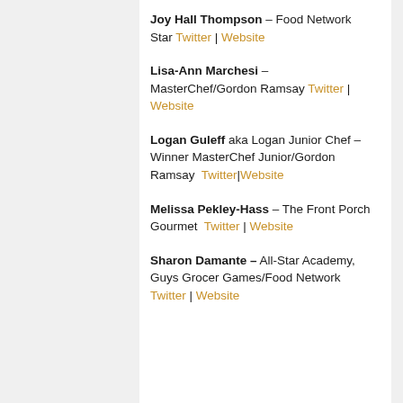Joy Hall Thompson – Food Network Star Twitter | Website
Lisa-Ann Marchesi – MasterChef/Gordon Ramsay Twitter | Website
Logan Guleff aka Logan Junior Chef – Winner MasterChef Junior/Gordon Ramsay Twitter | Website
Melissa Pekley-Hass – The Front Porch Gourmet Twitter | Website
Sharon Damante – All-Star Academy, Guys Grocer Games/Food Network Twitter | Website